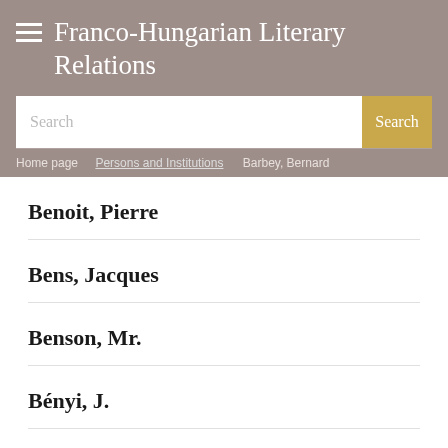Franco-Hungarian Literary Relations
Search
Home page > Persons and Institutions > Barbey, Bernard
Benoit, Pierre
Bens, Jacques
Benson, Mr.
Bényi, J.